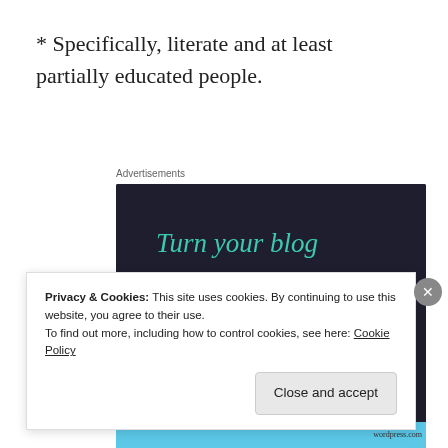* Specifically, literate and at least partially educated people.
Advertisements
[Figure (infographic): Dark-background advertisement with teal text reading 'Turn your blog into a money-making online course.' and a teal 'Learn More' button.]
Privacy & Cookies: This site uses cookies. By continuing to use this website, you agree to their use.
To find out more, including how to control cookies, see here: Cookie Policy
Close and accept